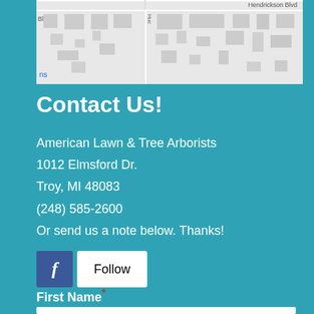[Figure (map): Partial street map showing Hendrickson Blvd and surrounding streets with building outlines in grey on white background]
Contact Us!
American Lawn & Tree Arborists
1012 Elmsford Dr.
Troy, MI 48083
(248) 585-2600
Or send us a note below. Thanks!
[Figure (other): Facebook follow button with blue Facebook icon and white Follow button]
First Name *